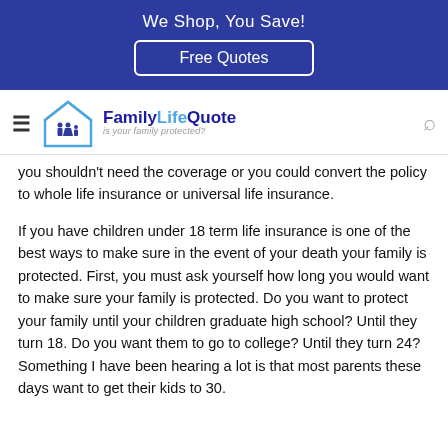We Shop, You Save!
[Figure (logo): Free Quotes button in blue banner]
[Figure (logo): FamilyLifeQuote logo with house/family icon and tagline 'is your family protected?']
you shouldn't need the coverage or you could convert the policy to whole life insurance or universal life insurance.
If you have children under 18 term life insurance is one of the best ways to make sure in the event of your death your family is protected. First, you must ask yourself how long you would want to make sure your family is protected. Do you want to protect your family until your children graduate high school? Until they turn 18. Do you want them to go to college? Until they turn 24? Something I have been hearing a lot is that most parents these days want to get their kids to 30.